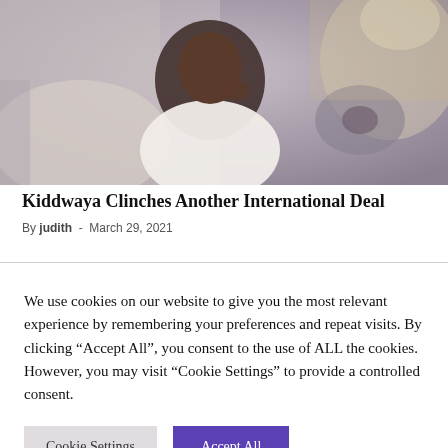[Figure (photo): A man in a white outfit sitting in a luxury car interior, looking thoughtful with his hand near his chin. The car has cream/beige leather seats and a visible steering wheel.]
Kiddwaya Clinches Another International Deal
By judith - March 29, 2021
We use cookies on our website to give you the most relevant experience by remembering your preferences and repeat visits. By clicking "Accept All", you consent to the use of ALL the cookies. However, you may visit "Cookie Settings" to provide a controlled consent.